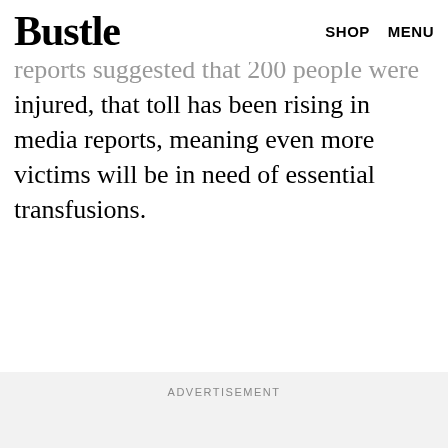Bustle  SHOP  MENU
reports suggested that 200 people were injured, that toll has been rising in media reports, meaning even more victims will be in need of essential transfusions.
ADVERTISEMENT